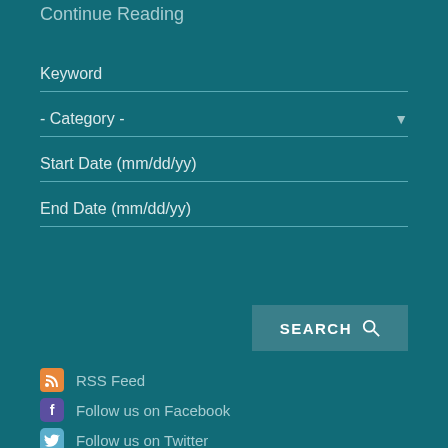Continue Reading
Keyword
- Category -
Start Date (mm/dd/yy)
End Date (mm/dd/yy)
SEARCH
RSS Feed
Follow us on Facebook
Follow us on Twitter
Follow us on LinkedIn